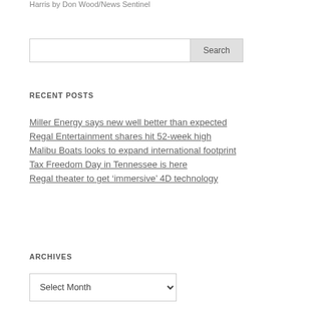Harris by Don Wood/News Sentinel
RECENT POSTS
Miller Energy says new well better than expected
Regal Entertainment shares hit 52-week high
Malibu Boats looks to expand international footprint
Tax Freedom Day in Tennessee is here
Regal theater to get ‘immersive’ 4D technology
ARCHIVES